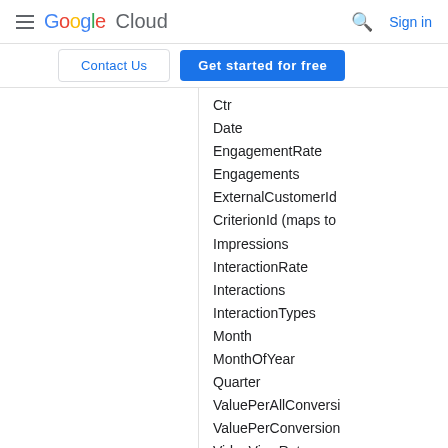Google Cloud — Sign in
Contact Us | Get started for free
Ctr
Date
EngagementRate
Engagements
ExternalCustomerId
CriterionId (maps to
Impressions
InteractionRate
Interactions
InteractionTypes
Month
MonthOfYear
Quarter
ValuePerAllConversi
ValuePerConversion
VideoViewRate
VideoViews